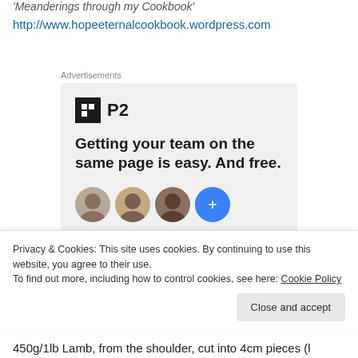'Meanderings through my Cookbook'
http://www.hopeeternalcookbook.wordpress.com
Advertisements
[Figure (screenshot): P2 advertisement: logo with black square icon and 'P2' text, headline 'Getting your team on the same page is easy. And free.' with avatar images below.]
Privacy & Cookies: This site uses cookies. By continuing to use this website, you agree to their use.
To find out more, including how to control cookies, see here: Cookie Policy
Close and accept
450g/1lb Lamb, from the shoulder, cut into 4cm pieces (l